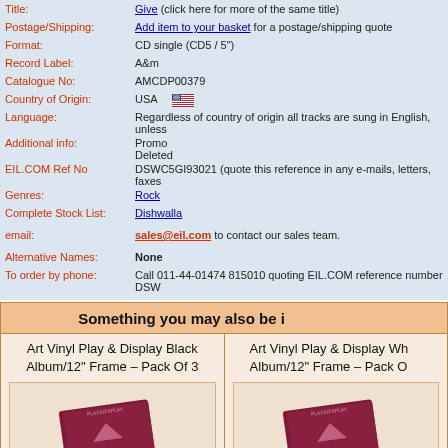| Field | Value |
| --- | --- |
| Title: | Give (click here for more of the same title) |
| Postage/Shipping: | Add item to your basket for a postage/shipping quote |
| Format: | CD single (CD5 / 5") |
| Record Label: | A&m |
| Catalogue No: | AMCDP00379 |
| Country of Origin: | USA 🇺🇸 |
| Language: | Regardless of country of origin all tracks are sung in English, unless |
| Additional info: | Promo
Deleted |
| EIL.COM Ref No | DSWC5GI93021 (quote this reference in any e-mails, letters, faxes |
| Genres: | Rock |
| Complete Stock List: | Dishwalla |
| email: | sales@eil.com to contact our sales team. |
| Alternative Names: | None |
| To order by phone: | Call 011-44-01474 815010 quoting EIL.COM reference number DSW |
Something you may also be interested in
Art Vinyl Play & Display Black Album/12" Frame – Pack Of 3
[Figure (photo): Product photo of Art Vinyl Play & Display Black Album/12" Frame – Pack Of 3, showing a dark red/maroon box packaging]
Art Vinyl Play & Display White Album/12" Frame – Pack Of 3
[Figure (photo): Product photo of Art Vinyl Play & Display White Album/12" Frame pack, showing similar maroon box packaging]